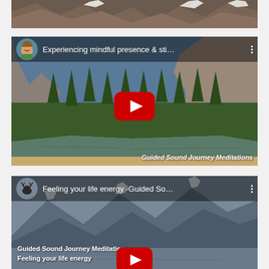[Figure (photo): Partial top view of rocky mountain terrain with snow, cropped strip]
[Figure (screenshot): YouTube video thumbnail showing 'Experiencing mindful presence & sti...' with forest and river landscape, YouTube play button overlay, avatar of smiling person, watermark 'Guided Sound Journey Meditations']
[Figure (screenshot): YouTube video thumbnail showing 'Feeling your life energy -Guided So...' with mountain lake landscape, YouTube play button overlay, moose avatar, text overlay 'Guided Sound Journey Meditations / Feeling your life energy']